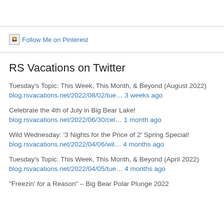[Figure (other): Follow Me on Pinterest image link/badge]
RS Vacations on Twitter
Tuesday’s Topic: This Week, This Month, & Beyond (August 2022)
blog.rsvacations.net/2022/08/02/tue… 3 weeks ago
Celebrate the 4th of July in Big Bear Lake!
blog.rsvacations.net/2022/06/30/cel… 1 month ago
Wild Wednesday: ‘3 Nights for the Price of 2’ Spring Special!
blog.rsvacations.net/2022/04/06/wil… 4 months ago
Tuesday’s Topic: This Week, This Month, & Beyond (April 2022)
blog.rsvacations.net/2022/04/05/tue… 4 months ago
“Freezin’ for a Reason” – Big Bear Polar Plunge 2022